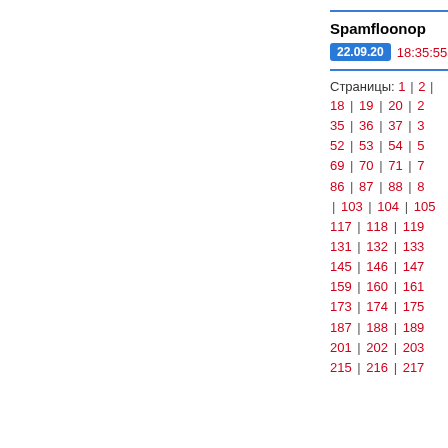Spamfloonop
22.09.20  18:35:55
Страницы: 1 | 2 | 18 | 19 | 20 | 2 | 35 | 36 | 37 | 3 | 52 | 53 | 54 | 5 | 69 | 70 | 71 | 7 | 86 | 87 | 88 | 8 | 103 | 104 | 105 | 117 | 118 | 119 | 131 | 132 | 133 | 145 | 146 | 147 | 159 | 160 | 161 | 173 | 174 | 175 | 187 | 188 | 189 | 201 | 202 | 203 | 215 | 216 | 217